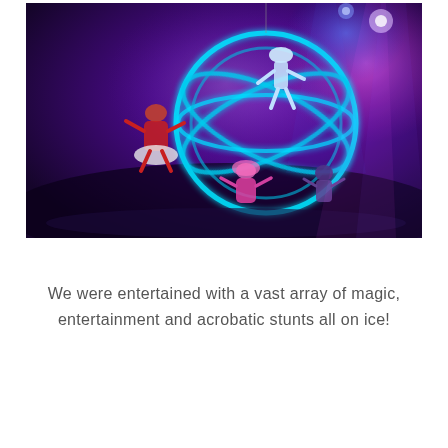[Figure (photo): Aerial acrobatic performance on ice showing performers inside and around a large illuminated globe/sphere apparatus, with colorful stage lighting in purple, blue, and pink hues. Performers wear costumes in red, white, and pink.]
We were entertained with a vast array of magic, entertainment and acrobatic stunts all on ice!